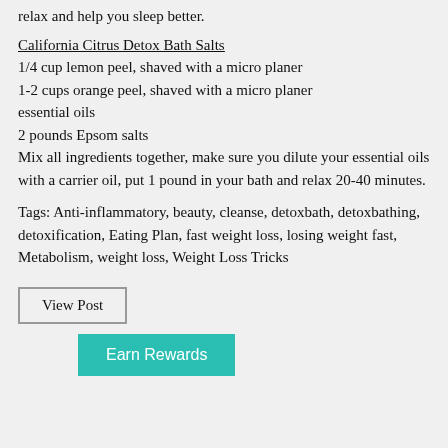relax and help you sleep better.
California Citrus Detox Bath Salts
1/4 cup lemon peel, shaved with a micro planer
1-2 cups orange peel, shaved with a micro planer
essential oils
2 pounds Epsom salts
Mix all ingredients together, make sure you dilute your essential oils with a carrier oil, put 1 pound in your bath and relax 20-40 minutes.
Tags: Anti-inflammatory, beauty, cleanse, detoxbath, detoxbathing, detoxification, Eating Plan, fast weight loss, losing weight fast, Metabolism, weight loss, Weight Loss Tricks
View Post
Earn Rewards